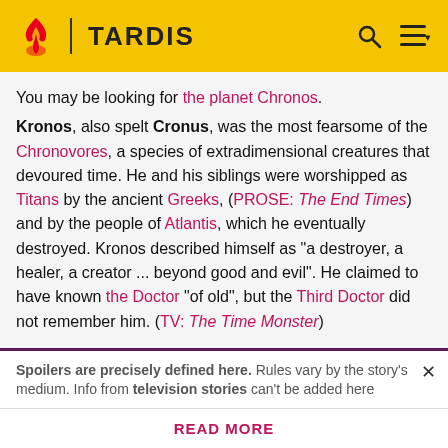TARDIS
You may be looking for the planet Chronos.
Kronos, also spelt Cronus, was the most fearsome of the Chronovores, a species of extradimensional creatures that devoured time. He and his siblings were worshipped as Titans by the ancient Greeks, (PROSE: The End Times) and by the people of Atlantis, which he eventually destroyed. Kronos described himself as "a destroyer, a healer, a creator ... beyond good and evil". He claimed to have known the Doctor "of old", but the Third Doctor did not remember him. (TV: The Time Monster)
Spoilers are precisely defined here. Rules vary by the story's medium. Info from television stories can't be added here
READ MORE